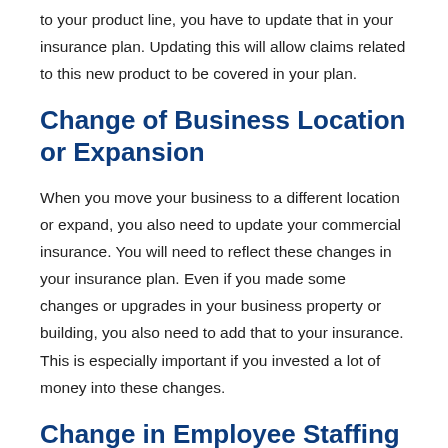to your product line, you have to update that in your insurance plan. Updating this will allow claims related to this new product to be covered in your plan.
Change of Business Location or Expansion
When you move your business to a different location or expand, you also need to update your commercial insurance. You will need to reflect these changes in your insurance plan. Even if you made some changes or upgrades in your business property or building, you also need to add that to your insurance. This is especially important if you invested a lot of money into these changes.
Change in Employee Staffing
If you have employees, you'll need to update your business insurance. If you have more employees from a previous...